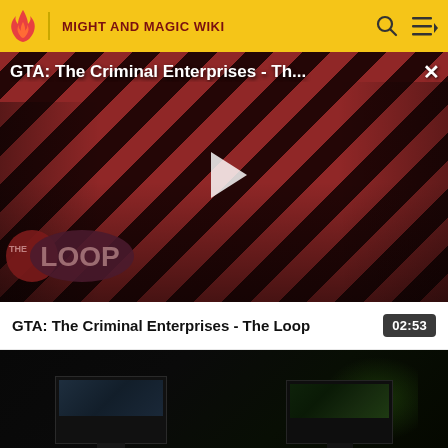MIGHT AND MAGIC WIKI
[Figure (screenshot): Video player showing GTA: The Criminal Enterprises - The Loop with striped red and dark background, showing game characters, a play button overlay, and The Loop logo in the lower left]
GTA: The Criminal Enterprises - Th...
GTA: The Criminal Enterprises - The Loop
02:53
[Figure (screenshot): Dark video thumbnail showing computer monitors/screens in a dark environment with green lighting on the right side]